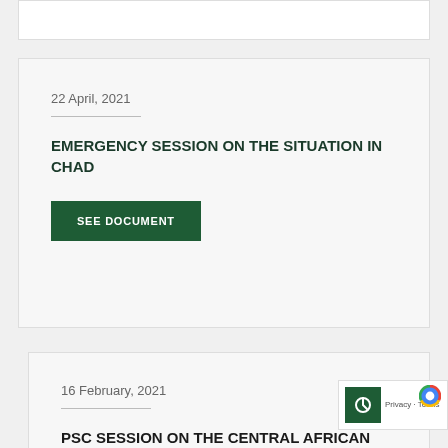22 April, 2021
EMERGENCY SESSION ON THE SITUATION IN CHAD
16 February, 2021
PSC SESSION ON THE CENTRAL AFRICAN REPUBLIC